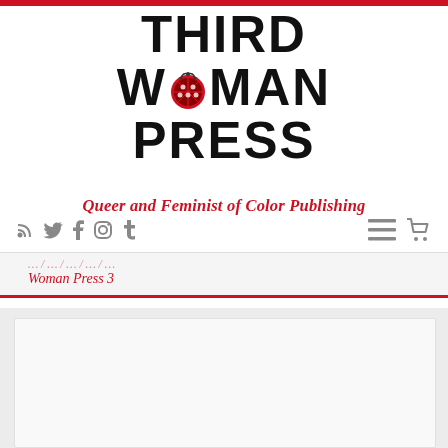THIRD WOMAN PRESS
Queer and Feminist of Color Publishing
Social navigation icons: RSS, Twitter, Facebook, Instagram, Tumblr; Hamburger menu; Cart
Woman Press 3